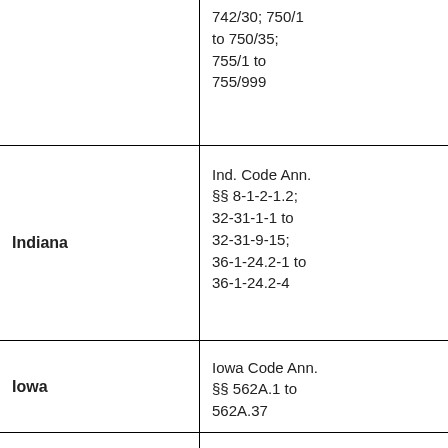| State | Statute |
| --- | --- |
|  | 742/30; 750/1 to 750/35; 755/1 to 755/999 |
| Indiana | Ind. Code Ann. §§ 8-1-2-1.2; 32-31-1-1 to 32-31-9-15; 36-1-24.2-1 to 36-1-24.2-4 |
| Iowa | Iowa Code Ann. §§ 562A.1 to 562A.37 |
|  |  |